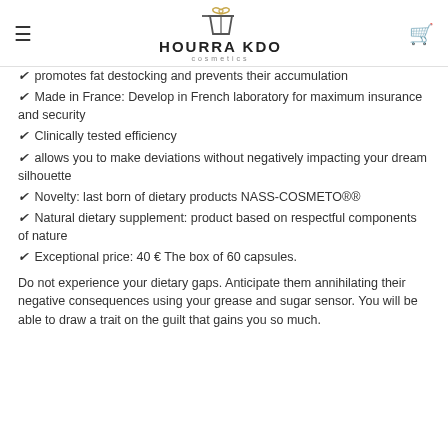HOURRA KDO cosmetics
promotes fat destocking and prevents their accumulation
Made in France: Develop in French laboratory for maximum insurance and security
Clinically tested efficiency
allows you to make deviations without negatively impacting your dream silhouette
Novelty: last born of dietary products NASS-COSMETO®®
Natural dietary supplement: product based on respectful components of nature
Exceptional price: 40 € The box of 60 capsules.
Do not experience your dietary gaps. Anticipate them annihilating their negative consequences using your grease and sugar sensor. You will be able to draw a trait on the guilt that gains you so much.